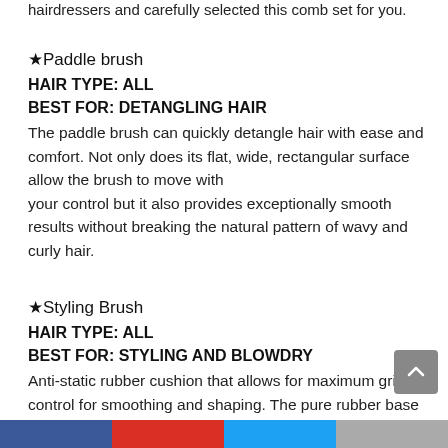hairdressers and carefully selected this comb set for you.
★Paddle brush
HAIR TYPE: ALL
BEST FOR: DETANGLING HAIR
The paddle brush can quickly detangle hair with ease and comfort. Not only does its flat, wide, rectangular surface allow the brush to move with your control but it also provides exceptionally smooth results without breaking the natural pattern of wavy and curly hair.
★Styling Brush
HAIR TYPE: ALL
BEST FOR: STYLING AND BLOWDRY
Anti-static rubber cushion that allows for maximum grip and control for smoothing and shaping. The pure rubber base provides the right amount of